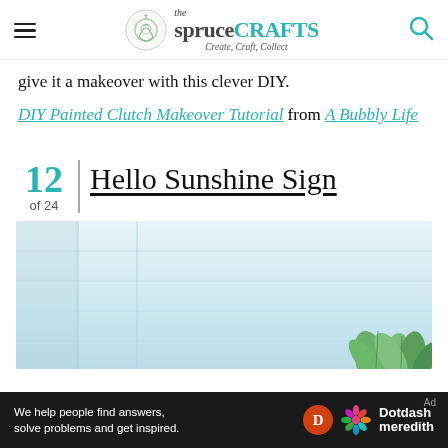the spruce CRAFTS — Create, Craft, Collect
give it a makeover with this clever DIY.
DIY Painted Clutch Makeover Tutorial from A Bubbly Life
12 of 24  Hello Sunshine Sign
[Figure (photo): Light blue/white background with green plant leaves in bottom right corner, appearing to be a photo for the Hello Sunshine Sign craft project.]
We help people find answers, solve problems and get inspired. Dotdash meredith